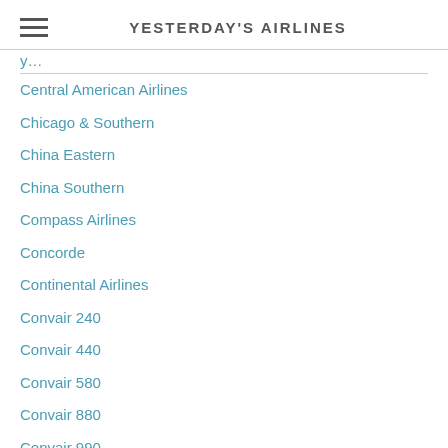YESTERDAY'S AIRLINES
Central American Airlines
Chicago & Southern
China Eastern
China Southern
Compass Airlines
Concorde
Continental Airlines
Convair 240
Convair 440
Convair 580
Convair 880
Convair 990
Curtiss C-46 Commando
Dan Air London
Delta Air Lines
DH-106 Comet 4
Douglas DC-3